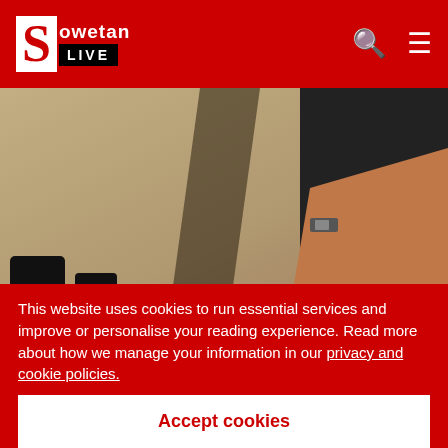Sowetan LIVE
[Figure (photo): Close-up video still showing feet/legs of people on a sandy ground surface, with one person's bare arm/leg visible and another in dark pants. A shadow stripe crosses the ground.]
A video of the Crystal Park High School fight went viral.
Image: TWITTER
Five girls from Crystal Park High School in Benoni have
This website uses cookies to run essential services and improve or personalise your reading experience. Read more about how we manage your information in our privacy and cookie policies.
Accept cookies